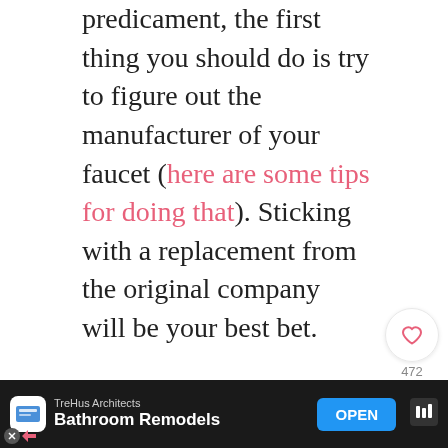predicament, the first thing you should do is try to figure out the manufacturer of your faucet (here are some tips for doing that). Sticking with a replacement from the original company will be your best bet.
First, I went to Lowe's and Home Depot without any success (though I did have a friend tell me she found a replacement at Home Depot, maybe different stores have different options). I was successful though and found some pretty replacements on Amazon for push and pull faucets from the 4 main hardware...
[Figure (other): Social sidebar with heart/save button showing count 472 and a share button]
[Figure (other): Advertisement banner for TreHus Architects Bathroom Remodels with OPEN button]